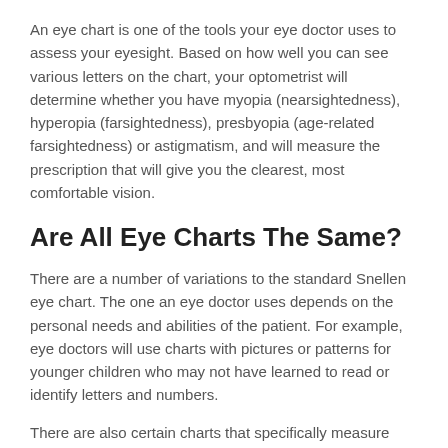An eye chart is one of the tools your eye doctor uses to assess your eyesight. Based on how well you can see various letters on the chart, your optometrist will determine whether you have myopia (nearsightedness), hyperopia (farsightedness), presbyopia (age-related farsightedness) or astigmatism, and will measure the prescription that will give you the clearest, most comfortable vision.
Are All Eye Charts The Same?
There are a number of variations to the standard Snellen eye chart. The one an eye doctor uses depends on the personal needs and abilities of the patient. For example, eye doctors will use charts with pictures or patterns for younger children who may not have learned to read or identify letters and numbers.
There are also certain charts that specifically measure distance vision, while others are better for measuring near vision.
History of the Snellen Eye Chart
The Snellen eye chart was developed by Dutch eye doctor